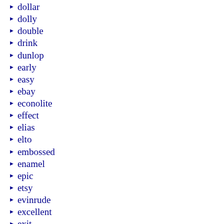dollar
dolly
double
drink
dunlop
early
easy
ebay
econolite
effect
elias
elto
embossed
enamel
epic
etsy
evinrude
excellent
exit
factors
fairmont
fake
falstaff